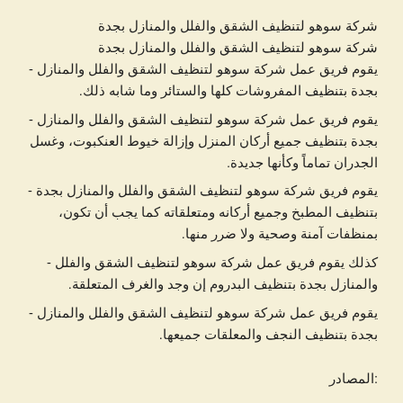شركة سوهو لتنظيف الشقق والفلل والمنازل بجدة
شركة سوهو لتنظيف الشقق والفلل والمنازل بجدة
يقوم فريق عمل شركة سوهو لتنظيف الشقق والفلل والمنازل - بجدة بتنظيف المفروشات كلها والستائر وما شابه ذلك.
- يقوم فريق عمل شركة سوهو لتنظيف الشقق والفلل والمنازل بجدة بتنظيف جميع أركان المنزل وإزالة خيوط العنكبوت، وغسل الجدران تماماً وكأنها جديدة.
- يقوم فريق شركة سوهو لتنظيف الشقق والفلل والمنازل بجدة، بتنظيف المطبخ وجميع أركانه ومتعلقاته كما يجب أن تكون، بمنظفات آمنة وصحية ولا ضرر منها.
- كذلك يقوم فريق عمل شركة سوهو لتنظيف الشقق والفلل والمنازل بجدة بتنظيف البدروم إن وجد والغرف المتعلقة.
- يقوم فريق عمل شركة سوهو لتنظيف الشقق والفلل والمنازل بجدة بتنظيف النجف والمعلقات جميعها.
:المصادر